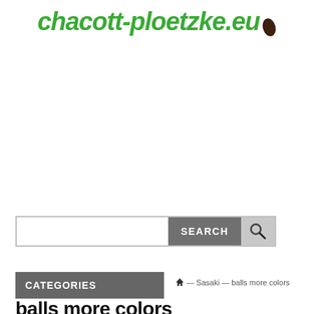chacott-ploetzke.eu
[Figure (screenshot): Search bar with text input field, SEARCH button in gray, and magnifying glass icon button]
CATEGORIES
🏠 — Sasaki — balls more colors
balls more colors